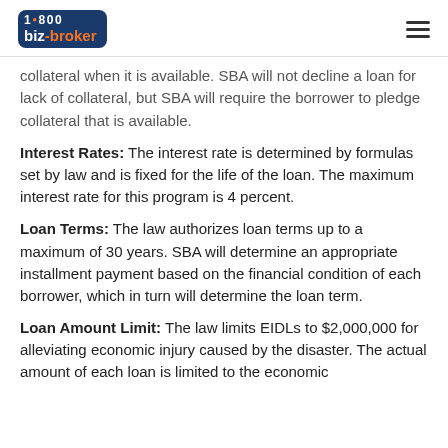1-800 biz-broker
collateral when it is available. SBA will not decline a loan for lack of collateral, but SBA will require the borrower to pledge collateral that is available.
Interest Rates: The interest rate is determined by formulas set by law and is fixed for the life of the loan. The maximum interest rate for this program is 4 percent.
Loan Terms: The law authorizes loan terms up to a maximum of 30 years. SBA will determine an appropriate installment payment based on the financial condition of each borrower, which in turn will determine the loan term.
Loan Amount Limit: The law limits EIDLs to $2,000,000 for alleviating economic injury caused by the disaster. The actual amount of each loan is limited to the economic injury determined by SBA, less business interruption...